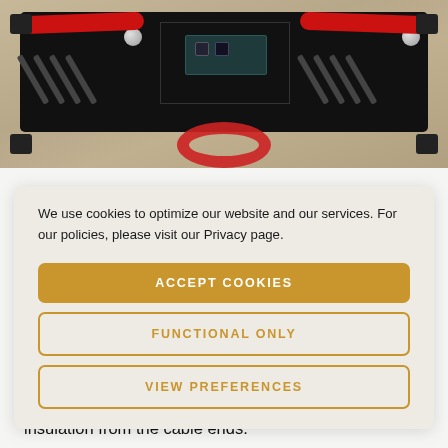[Figure (photo): Photo of a black metal electrical enclosure/BMS unit with red cables attached on both sides, silver terminal bolts visible, mounted on a wooden surface. A red cable loop is visible at the bottom.]
We use cookies to optimize our website and our services. For our policies, please visit our Privacy page.
ACCEPT COOKIES
FUNCTIONAL ONLY
VIEW PREFERENCES
shorten it to about 15cm. Remove about 5mm insulation from the cable ends.